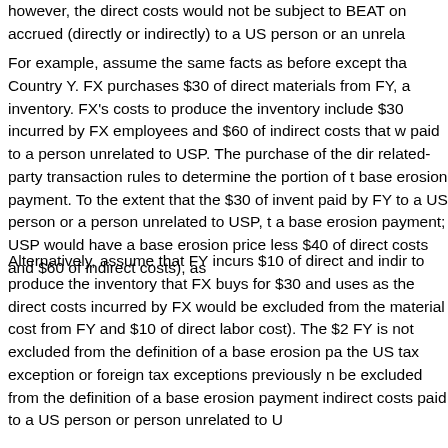however, the direct costs would not be subject to BEAT on accrued (directly or indirectly) to a US person or an unrela...
For example, assume the same facts as before except that Country Y. FX purchases $30 of direct materials from FY, a inventory. FX's costs to produce the inventory include $30 incurred by FX employees and $60 of indirect costs that w paid to a person unrelated to USP. The purchase of the dir related-party transaction rules to determine the portion of t base erosion payment. To the extent that the $30 of invent paid by FY to a US person or a person unrelated to USP, t a base erosion payment; USP would have a base erosion price less $40 of direct costs and $60 of indirect costs), as
Alternatively, assume that FY incurs $10 of direct and indi to produce the inventory that FX buys for $30 and uses as the direct costs incurred by FX would be excluded from the material cost from FY and $10 of direct labor cost). The $2 FY is not excluded from the definition of a base erosion pa the US tax exception or foreign tax exceptions previously n be excluded from the definition of a base erosion payment indirect costs paid to a US person or person unrelated to U...